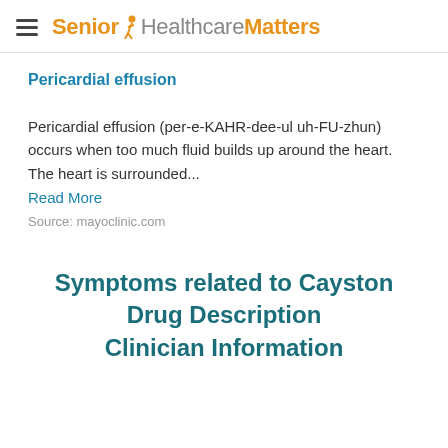Senior HealthcareMatters
Pericardial effusion
Pericardial effusion (per-e-KAHR-dee-ul uh-FU-zhun) occurs when too much fluid builds up around the heart. The heart is surrounded...
Read More
Source: mayoclinic.com
Symptoms related to Cayston Drug Description Clinician Information